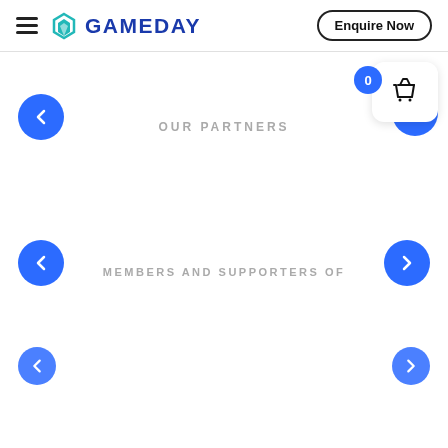GAMEDAY | Enquire Now
[Figure (screenshot): Navigation carousel section labeled OUR PARTNERS with blue left and right arrow buttons and a shopping cart widget with badge showing 0]
OUR PARTNERS
[Figure (screenshot): Navigation carousel section labeled MEMBERS AND SUPPORTERS OF with blue left and right arrow buttons, partially visible]
MEMBERS AND SUPPORTERS OF